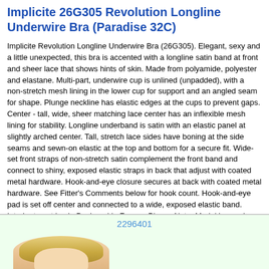Implicite 26G305 Revolution Longline Underwire Bra (Paradise 32C)
Implicite Revolution Longline Underwire Bra (26G305). Elegant, sexy and a little unexpected, this bra is accented with a longline satin band at front and sheer lace that shows hints of skin. Made from polyamide, polyester and elastane. Multi-part, underwire cup is unlined (unpadded), with a non-stretch mesh lining in the lower cup for support and an angled seam for shape. Plunge neckline has elastic edges at the cups to prevent gaps. Center - tall, wide, sheer matching lace center has an inflexible mesh lining for stability. Longline underband is satin with an elastic panel at slightly arched center. Tall, stretch lace sides have boning at the side seams and sewn-on elastic at the top and bottom for a secure fit. Wide-set front straps of non-stretch satin complement the front band and connect to shiny, exposed elastic straps in back that adjust with coated metal hardware. Hook-and-eye closure secures at back with coated metal hardware. See Fitter's Comments below for hook count. Hook-and-eye pad is set off center and connected to a wide, exposed elastic band. Interior tag at back. Designed in France. Please Note: Model is wearing nipple covers (not included) for modesty.
$34.95
Select Size and Color
2296401
[Figure (photo): Partial view of a blonde model wearing the Implicite bra]